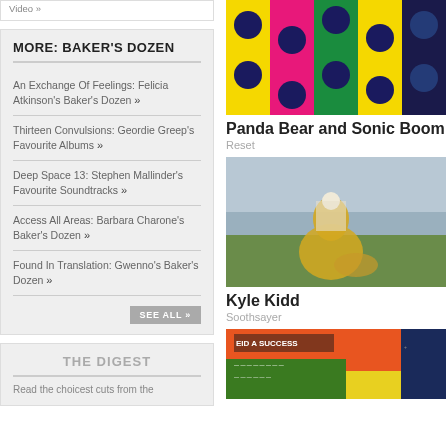Video »
MORE: BAKER'S DOZEN
An Exchange Of Feelings: Felicia Atkinson's Baker's Dozen »
Thirteen Convulsions: Geordie Greep's Favourite Albums »
Deep Space 13: Stephen Mallinder's Favourite Soundtracks »
Access All Areas: Barbara Charone's Baker's Dozen »
Found In Translation: Gwenno's Baker's Dozen »
SEE ALL »
THE DIGEST
Read the choicest cuts from the
[Figure (illustration): Colorful polka dot pattern album cover with yellow, pink, green, and dark blue dots]
Panda Bear and Sonic Boom
Reset
[Figure (photo): Kyle Kidd in a golden dress standing by the sea]
Kyle Kidd
Soothsayer
[Figure (photo): Album cover with orange and green graphic design text EID A SUCCESS]